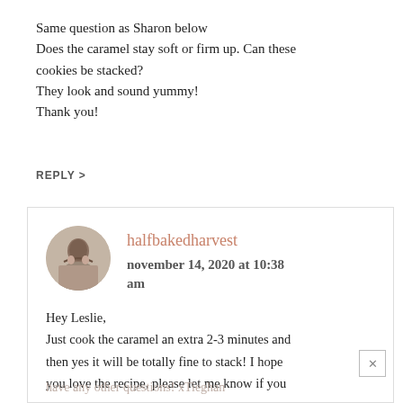Same question as Sharon below
Does the caramel stay soft or firm up. Can these cookies be stacked?
They look and sound yummy!
Thank you!
REPLY >
halfbakedharvest
november 14, 2020 at 10:38 am
Hey Leslie,
Just cook the caramel an extra 2-3 minutes and then yes it will be totally fine to stack! I hope you love the recipe, please let me know if you have any other questions! xTieghan